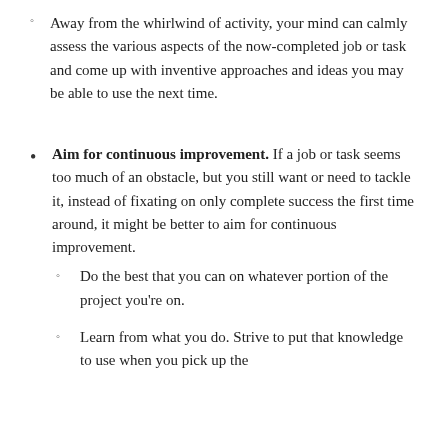Away from the whirlwind of activity, your mind can calmly assess the various aspects of the now-completed job or task and come up with inventive approaches and ideas you may be able to use the next time.
Aim for continuous improvement. If a job or task seems too much of an obstacle, but you still want or need to tackle it, instead of fixating on only complete success the first time around, it might be better to aim for continuous improvement.
Do the best that you can on whatever portion of the project you're on.
Learn from what you do. Strive to put that knowledge to use when you pick up the